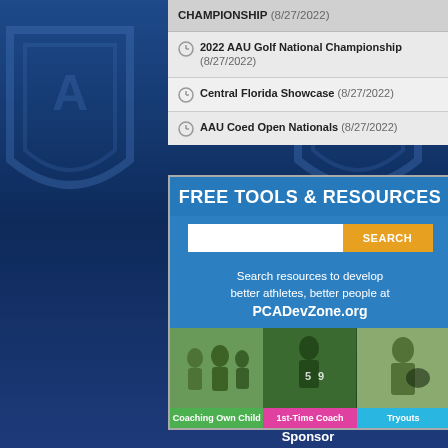CHAMPIONSHIP (8/27/2022)
2022 AAU Golf National Championship (8/27/2022)
Central Florida Showcase (8/27/2022)
AAU Coed Open Nationals (8/27/2022)
[Figure (infographic): FREE TOOLS & RESOURCES banner with search bar, description text 'Search resources to develop better athletes, better people at PCADevZone.org', and three photo categories: Coaching Own Child, 1st-Time Coach, Tryouts]
Sponsor